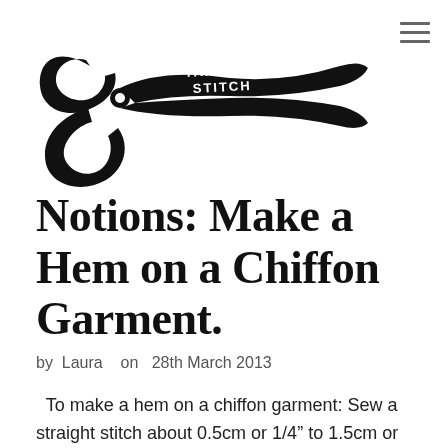[Figure (logo): Tangled Stitch logo: black scissors illustration with 'TANGLED STITCH' text on the blade]
Notions: Make a Hem on a Chiffon Garment.
by Laura  on  28th March 2013
To make a hem on a chiffon garment: Sew a straight stitch about 0.5cm or 1/4" to 1.5cm or 3/8" away from the cut edge. Iron the hem up at the stitched line.  The stitched line will help the iron naturally turn the fabric. Stitch the turned area down with a straight stitch, just [...]